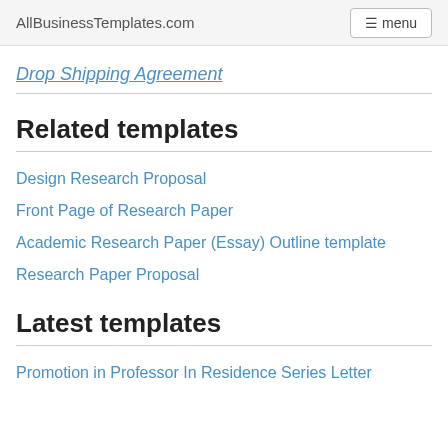AllBusinessTemplates.com  menu
Drop Shipping Agreement
Related templates
Design Research Proposal
Front Page of Research Paper
Academic Research Paper (Essay) Outline template
Research Paper Proposal
Latest templates
Promotion in Professor In Residence Series Letter